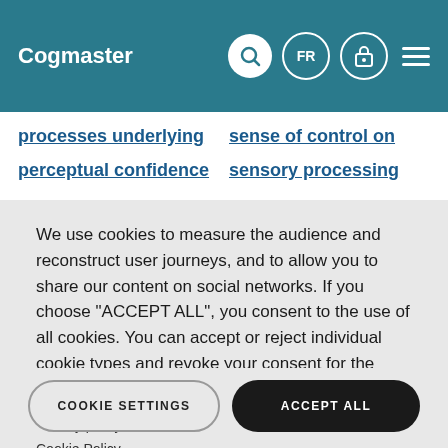Cogmaster
processes underlying
sense of control on
perceptual confidence
sensory processing
We use cookies to measure the audience and reconstruct user journeys, and to allow you to share our content on social networks. If you choose "ACCEPT ALL", you consent to the use of all cookies. You can accept or reject individual cookie types and revoke your consent for the future at any time under "Settings".
Privacy policy
Cookie Policy
COOKIE SETTINGS
ACCEPT ALL